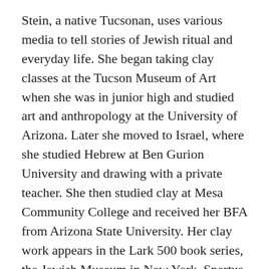Stein, a native Tucsonan, uses various media to tell stories of Jewish ritual and everyday life. She began taking clay classes at the Tucson Museum of Art when she was in junior high and studied art and anthropology at the University of Arizona. Later she moved to Israel, where she studied Hebrew at Ben Gurion University and drawing with a private teacher. She then studied clay at Mesa Community College and received her BFA from Arizona State University. Her clay work appears in the Lark 500 book series, the Jewish Museum in New York, Spertus Museum in Chicago, Tucson Museum of Art and the Silver City Clay Festival, where she won first place in the 2016 international sculpture competition. Her paintings adorn educational books, greeting cards and Passover Haggadahs.
Lowe calls her art “paper therapy.” In addition to the iris folding paper design and double embossed gold cloisonné